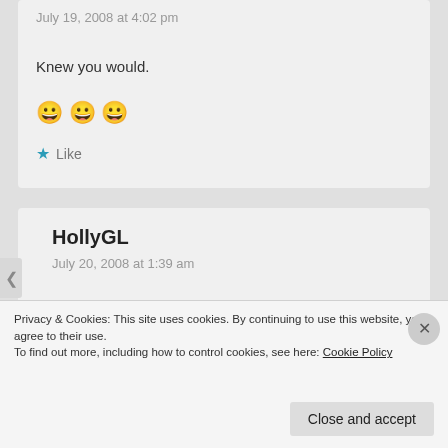July 19, 2008 at 4:02 pm
Knew you would. 😀 😀 😀
Like
HollyGL
July 20, 2008 at 1:39 am
I loved this post. White light has always been my surrounding of choice. 🙂
Like
Privacy & Cookies: This site uses cookies. By continuing to use this website, you agree to their use.
To find out more, including how to control cookies, see here: Cookie Policy
Close and accept